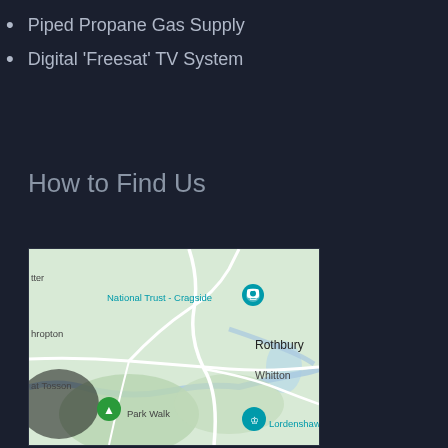Piped Propane Gas Supply
Digital 'Freesat' TV System
How to Find Us
[Figure (map): Google Maps screenshot showing the area around Rothbury, Northumberland. Visible labels include National Trust - Cragside (with camera pin), Rothbury, Whitton, hropton, at Tosson, Park Walk, and Lordenshaw Hill F (truncated). A green tree pin and a teal castle/fort pin are visible.]